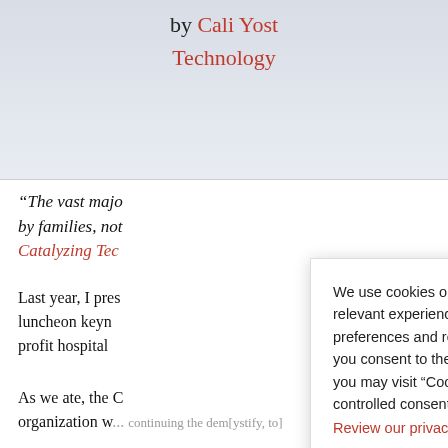by Cali Yost Technology
“The vast majority [of decisions are made] by families, not [by employers]” — Catalyzing Tec[hnology]
Last year, I pres[ented a] luncheon keyn[ote at a non-] profit hospital [event.]
As we ate, the C[EO of the] organization w[as clearly,] continuing the dem[ystify...]
We use cookies on our website to give you the most relevant experience by remembering your preferences and repeat visits. By clicking “Accept”, you consent to the use of ALL the cookies. However, you may visit “Cookie Settings” to provide a controlled consent.
Review our privacy policy here.